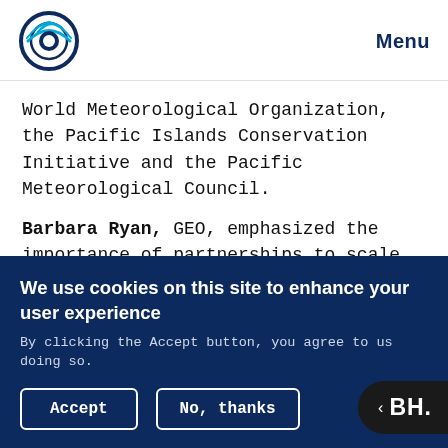Menu
World Meteorological Organization, the Pacific Islands Conservation Initiative and the Pacific Meteorological Council.
Barbara Ryan, GEO, emphasized the importance of partnerships to scale up data solutions at the international and national levels. She underscored the need for accessibility of data in all areas: land, oceans and space. She said that increasing
We use cookies on this site to enhance your user experience
By clicking the Accept button, you agree to us doing so.